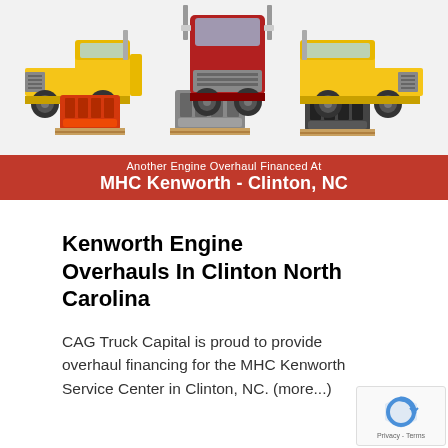[Figure (illustration): Banner image showing multiple Kenworth trucks (yellow and red cab-over and conventional trucks) with diesel engines displayed in front on pallets, against a white/grey background. Below the trucks is a red banner reading 'Another Engine Overhaul Financed At MHC Kenworth - Clinton, NC']
Kenworth Engine Overhauls In Clinton North Carolina
CAG Truck Capital is proud to provide overhaul financing for the MHC Kenworth Service Center in Clinton, NC. (more...)